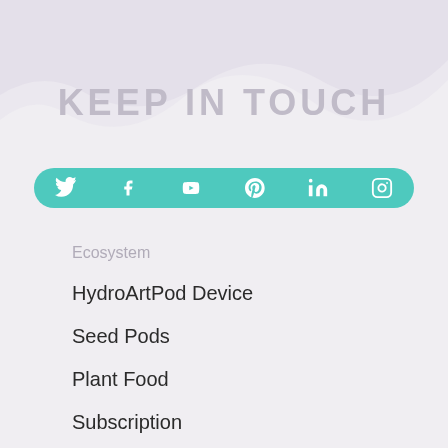KEEP IN TOUCH
[Figure (infographic): Teal/turquoise rounded pill-shaped social media bar with icons: Twitter, Facebook, YouTube, Pinterest, LinkedIn, Instagram]
Ecosystem
HydroArtPod Device
Seed Pods
Plant Food
Subscription